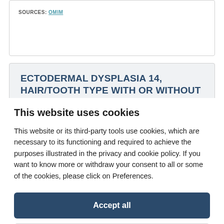SOURCES: OMIM
ECTODERMAL DYSPLASIA 14, HAIR/TOOTH TYPE WITH OR WITHOUT HYPOHIDROSIS; ECTD14
This website uses cookies
This website or its third-party tools use cookies, which are necessary to its functioning and required to achieve the purposes illustrated in the privacy and cookie policy. If you want to know more or withdraw your consent to all or some of the cookies, please click on Preferences.
Accept all
Preferences